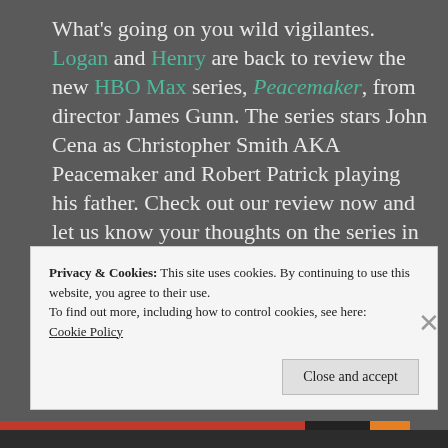What's going on you wild vigilantes. Logan and Henry are back to review the new HBO Max series, Peacemaker, from director James Gunn. The series stars John Cena as Christopher Smith AKA Peacemaker and Robert Patrick playing his father. Check out our review now and let us know your thoughts on the series in the comments below!
#Peacemaker #HBOMax #DC #TVReview
Privacy & Cookies: This site uses cookies. By continuing to use this website, you agree to their use.
To find out more, including how to control cookies, see here:
Cookie Policy
Close and accept